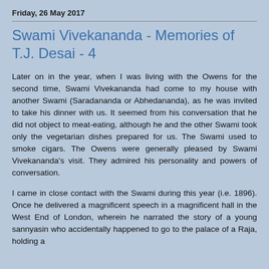Friday, 26 May 2017
Swami Vivekananda - Memories of T.J. Desai - 4
Later on in the year, when I was living with the Owens for the second time, Swami Vivekananda had come to my house with another Swami (Saradananda or Abhedananda), as he was invited to take his dinner with us. It seemed from his conversation that he did not object to meat-eating, although he and the other Swami took only the vegetarian dishes prepared for us. The Swami used to smoke cigars. The Owens were generally pleased by Swami Vivekananda's visit. They admired his personality and powers of conversation.
I came in close contact with the Swami during this year (i.e. 1896). Once he delivered a magnificent speech in a magnificent hall in the West End of London, wherein he narrated the story of a young sannyasin who accidentally happened to go to the palace of a Raja, holding a